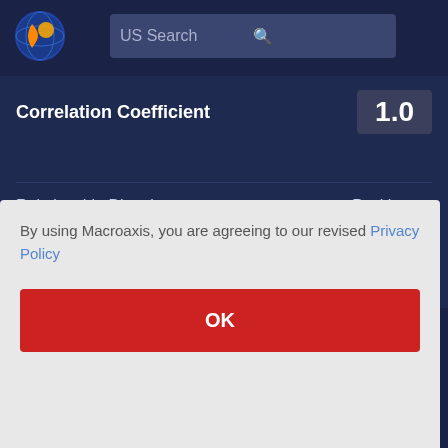[Figure (logo): Macroaxis globe logo with orange and blue colors]
US Search
Correlation Coefficient    1.0
| Relationship Direction | Positive ▲ |
| Relationship Strength | Very Strong |
By using Macroaxis, you are agreeing to our revised Privacy Policy
OK
Invested capital represents the total cash investment that